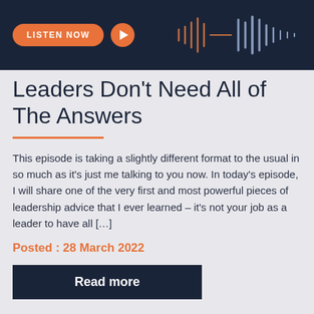[Figure (other): Dark navy banner with an orange 'LISTEN NOW' pill button, an orange circular play button, and a waveform audio visualization graphic on the right side]
Leaders Don't Need All of The Answers
This episode is taking a slightly different format to the usual in so much as it's just me talking to you now. In today's episode, I will share one of the very first and most powerful pieces of leadership advice that I ever learned – it's not your job as a leader to have all […]
Posted : 28 March 2022
Read more